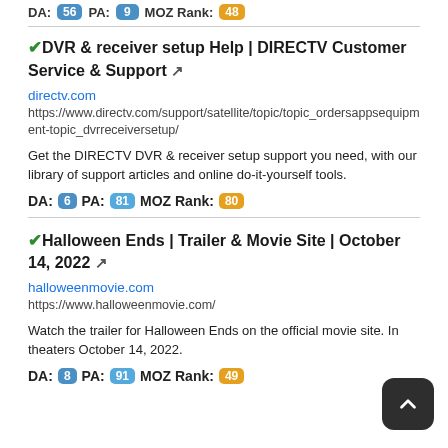DA: 56  PA: 9  MOZ Rank: 48
DVR & receiver setup Help | DIRECTV Customer Service & Support
directv.com
https://www.directv.com/support/satellite/topic/topic_ordersappsequipment-topic_dvrreceiversetup/
Get the DIRECTV DVR & receiver setup support you need, with our library of support articles and online do-it-yourself tools.
DA: 6  PA: 81  MOZ Rank: 80
Halloween Ends | Trailer & Movie Site | October 14, 2022
halloweenmovie.com
https://www.halloweenmovie.com/
Watch the trailer for Halloween Ends on the official movie site. In theaters October 14, 2022.
DA: 8  PA: 91  MOZ Rank: 49